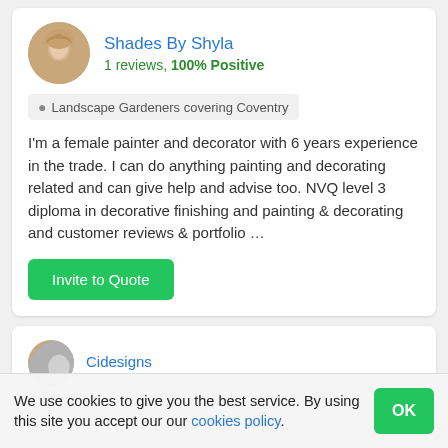Shades By Shyla
1 reviews, 100% Positive
Landscape Gardeners covering Coventry
I'm a female painter and decorator with 6 years experience in the trade. I can do anything painting and decorating related and can give help and advise too. NVQ level 3 diploma in decorative finishing and painting & decorating and customer reviews & portfolio …
Invite to Quote
Cidesigns
We use cookies to give you the best service. By using this site you accept our our cookies policy.